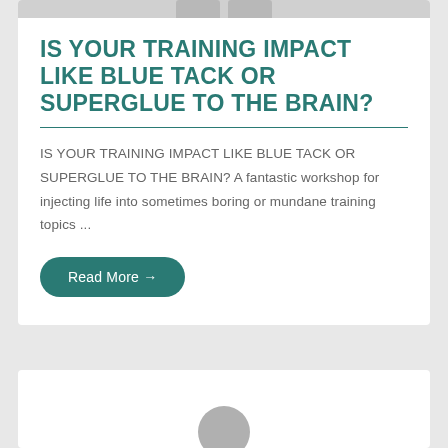[Figure (illustration): Top portion of a card with grey image placeholder strip at top]
IS YOUR TRAINING IMPACT LIKE BLUE TACK OR SUPERGLUE TO THE BRAIN?
IS YOUR TRAINING IMPACT LIKE BLUE TACK OR SUPERGLUE TO THE BRAIN? A fantastic workshop for injecting life into sometimes boring or mundane training topics ...
Read More →
[Figure (illustration): Bottom card beginning to appear with a circular avatar placeholder]